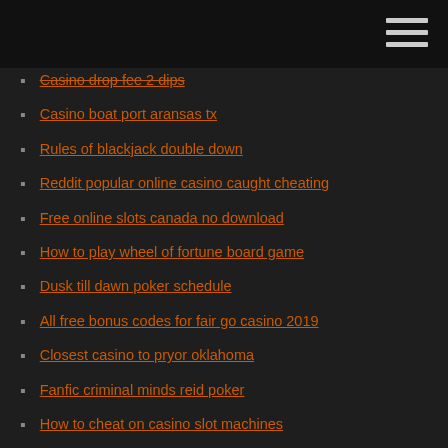Casino drop fee 2 dips
Casino boat port aransas tx
Rules of blackjack double down
Reddit popular online casino caught cheating
Free online slots canada no download
How to play wheel of fortune board game
Dusk till dawn poker schedule
All free bonus codes for fair go casino 2019
Closest casino to pryor oklahoma
Fanfic criminal minds reid poker
How to cheat on casino slot machines
Online casino eroffnen malta
37 laurel ave casino 2470
Ignition casino what is poker points
Gambling betting your life away